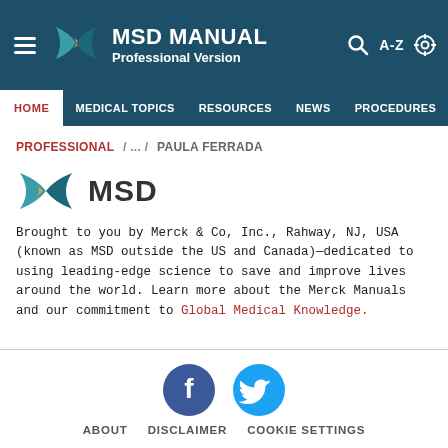MSD MANUAL Professional Version
HOME  MEDICAL TOPICS  RESOURCES  NEWS  PROCEDURES
PROFESSIONAL / ... / PAULA FERRADA
[Figure (logo): MSD logo — teal bowtie icon with MSD text in dark gray]
Brought to you by Merck & Co, Inc., Rahway, NJ, USA (known as MSD outside the US and Canada)—dedicated to using leading-edge science to save and improve lives around the world. Learn more about the Merck Manuals and our commitment to Global Medical Knowledge.
[Figure (illustration): Facebook and Twitter social media icons in circular teal/blue buttons]
ABOUT  DISCLAIMER  COOKIE SETTINGS